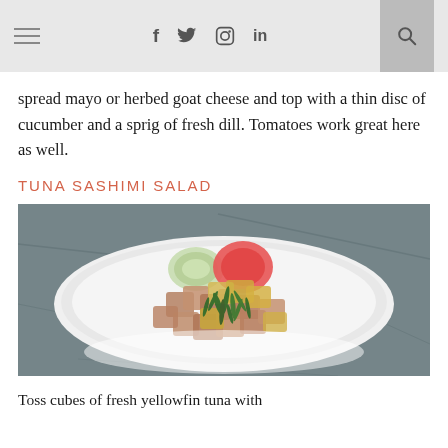≡  f  𝕥  📷  in  🔍
spread mayo or herbed goat cheese and top with a thin disc of cucumber and a sprig of fresh dill. Tomatoes work great here as well.
TUNA SASHIMI SALAD
[Figure (photo): A white bowl filled with cubed yellowfin tuna sashimi salad with cucumber, tomato, and fresh dill, photographed from above on a dark stone surface.]
Toss cubes of fresh yellowfin tuna with